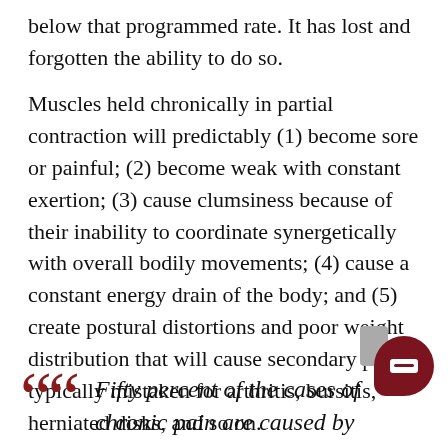below that programmed rate. It has lost and forgotten the ability to do so.
Muscles held chronically in partial contraction will predictably (1) become sore or painful; (2) become weak with constant exertion; (3) cause clumsiness because of their inability to coordinate synergetically with overall bodily movements; (4) cause a constant energy drain of the body; and (5) create postural distortions and poor weight distribution that will cause secondary pain typically mistaken for arthritis, bursitis, herniated disks, and so on.
Fifty percent of the cases of chronic pain are caused by